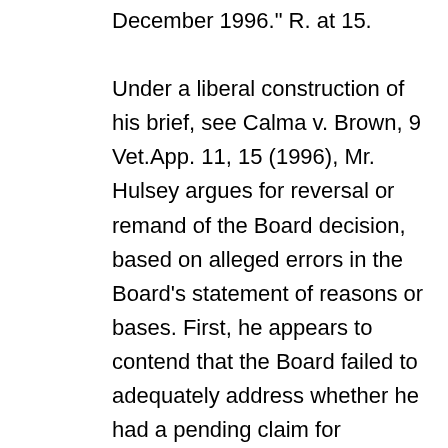December 1996." R. at 15. Under a liberal construction of his brief, see Calma v. Brown, 9 Vet.App. 11, 15 (1996), Mr. Hulsey argues for reversal or remand of the Board decision, based on alleged errors in the Board's statement of reasons or bases. First, he appears to contend that the Board failed to adequately address whether he had a pending claim for